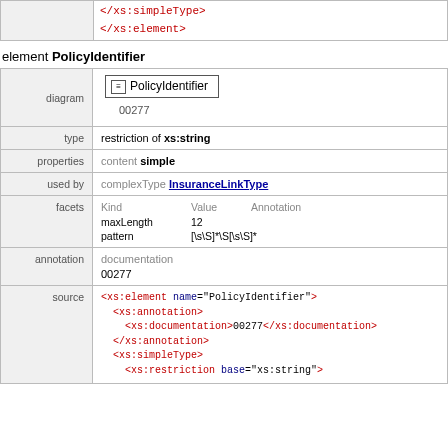| </xs:simpleType> |  |
| </xs:element> |  |
element PolicyIdentifier
| diagram | type | properties | used by | facets | annotation | source |
| --- | --- | --- | --- | --- | --- | --- |
| diagram | PolicyIdentifier / 00277 |
| type | restriction of xs:string |
| properties | content simple |
| used by | complexType InsuranceLinkType |
| facets | Kind Value Annotation / maxLength 12 / pattern [\s\S]*\S[\s\S]* |
| annotation | documentation / 00277 |
| source | <xs:element name="PolicyIdentifier">
  <xs:annotation>
    <xs:documentation>00277</xs:documentation>
  </xs:annotation>
  <xs:simpleType>
    <xs:restriction base="xs:string"> |